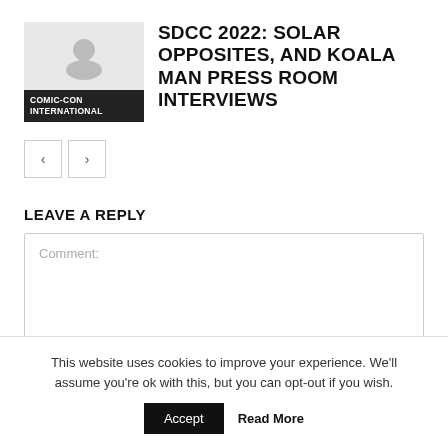[Figure (logo): Comic-Con International thumbnail image with grey background silhouette and black label bar reading 'COMIC-CON INTERNATIONAL']
SDCC 2022: SOLAR OPPOSITES, AND KOALA MAN PRESS ROOM INTERVIEWS
[Figure (other): Navigation buttons: left arrow and right arrow pagination controls]
LEAVE A REPLY
Comment:
This website uses cookies to improve your experience. We'll assume you're ok with this, but you can opt-out if you wish.
Accept
Read More